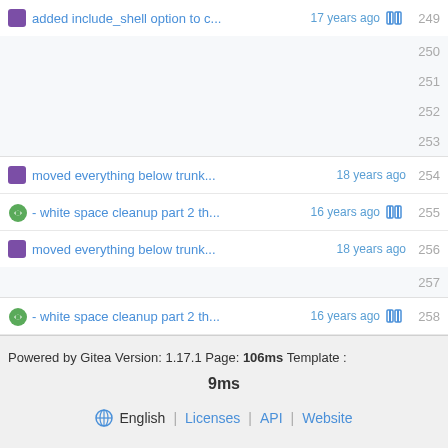added include_shell option to c... 17 years ago 249
250
251
252
253
moved everything below trunk... 18 years ago 254
- white space cleanup part 2 th... 16 years ago 255
moved everything below trunk... 18 years ago 256
257
- white space cleanup part 2 th... 16 years ago 258
moved everything below trunk... 18 years ago 259
260
Powered by Gitea Version: 1.17.1 Page: 106ms Template : 9ms English | Licenses | API | Website